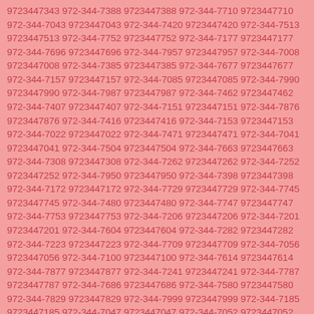9723447343 972-344-7388 9723447388 972-344-7710 9723447710 972-344-7043 9723447043 972-344-7420 9723447420 972-344-7513 9723447513 972-344-7752 9723447752 972-344-7177 9723447177 972-344-7696 9723447696 972-344-7957 9723447957 972-344-7008 9723447008 972-344-7385 9723447385 972-344-7677 9723447677 972-344-7157 9723447157 972-344-7085 9723447085 972-344-7990 9723447990 972-344-7987 9723447987 972-344-7462 9723447462 972-344-7407 9723447407 972-344-7151 9723447151 972-344-7876 9723447876 972-344-7416 9723447416 972-344-7153 9723447153 972-344-7022 9723447022 972-344-7471 9723447471 972-344-7041 9723447041 972-344-7504 9723447504 972-344-7663 9723447663 972-344-7308 9723447308 972-344-7262 9723447262 972-344-7252 9723447252 972-344-7950 9723447950 972-344-7398 9723447398 972-344-7172 9723447172 972-344-7729 9723447729 972-344-7745 9723447745 972-344-7480 9723447480 972-344-7747 9723447747 972-344-7753 9723447753 972-344-7206 9723447206 972-344-7201 9723447201 972-344-7604 9723447604 972-344-7282 9723447282 972-344-7223 9723447223 972-344-7709 9723447709 972-344-7056 9723447056 972-344-7100 9723447100 972-344-7614 9723447614 972-344-7877 9723447877 972-344-7241 9723447241 972-344-7787 9723447787 972-344-7686 9723447686 972-344-7580 9723447580 972-344-7829 9723447829 972-344-7999 9723447999 972-344-7185 9723447185 972-344-7047 9723447047 972-344-7052 9723447052 972-344-7896 9723447896 972-344-7353 9723447353 972-344-7496 9723447496 972-344-7648 9723447648 972-344-7830 9723447830 972-344-7453